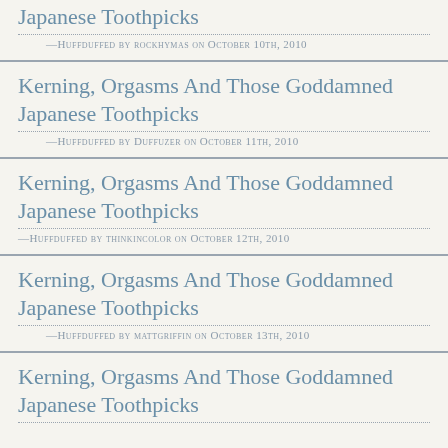Kerning, Orgasms And Those Goddamned Japanese Toothpicks
—Huffduffed by rockhymas on October 10th, 2010
Kerning, Orgasms And Those Goddamned Japanese Toothpicks
—Huffduffed by Duffuzer on October 11th, 2010
Kerning, Orgasms And Those Goddamned Japanese Toothpicks
—Huffduffed by thinkincolor on October 12th, 2010
Kerning, Orgasms And Those Goddamned Japanese Toothpicks
—Huffduffed by mattgriffin on October 13th, 2010
Kerning, Orgasms And Those Goddamned Japanese Toothpicks